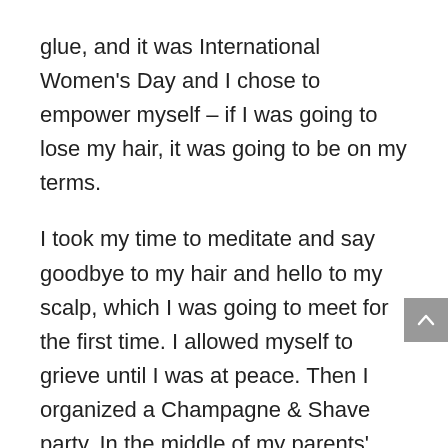glue, and it was International Women's Day and I chose to empower myself – if I was going to lose my hair, it was going to be on my terms.

I took my time to meditate and say goodbye to my hair and hello to my scalp, which I was going to meet for the first time. I allowed myself to grieve until I was at peace. Then I organized a Champagne & Shave party. In the middle of my parents' garden, surrounded by friends and family, I confidently and happily parted with my hair.